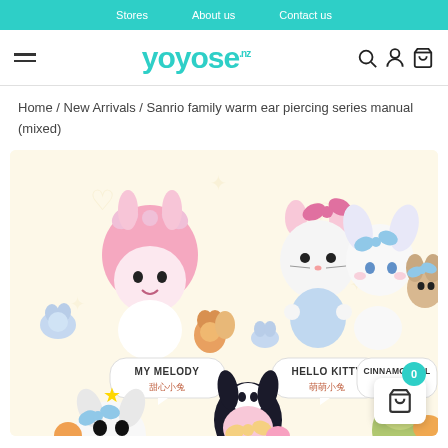Stores  About us  Contact us
[Figure (logo): YOYOSO.NZ logo in teal color with hamburger menu icon on left and search, user, cart icons on right]
Home / New Arrivals / Sanrio family warm ear piercing series manual (mixed)
[Figure (photo): Product image showing Sanrio character figurines: My Melody with small animals, Hello Kitty in blue dress, Cinnamoroll pair, and partial views of Pochacco, Kuromi, and another character in the bottom row. All on a cream/yellow background with faint decorative prints. Labels show MY MELODY 甜心小兔, HELLO KITTY 萌萌小兔, CINNAMOROLL 电眼小兔]